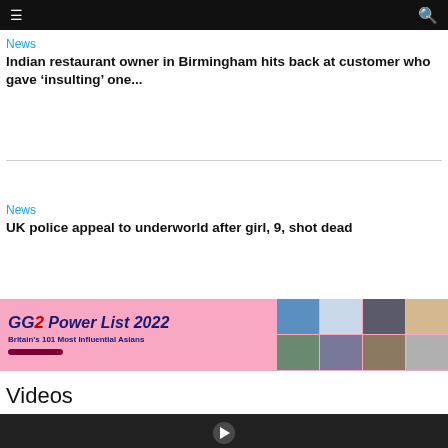Navigation bar with menu and search icons
News
Indian restaurant owner in Birmingham hits back at customer who gave ‘insulting’ one...
News
UK police appeal to underworld after girl, 9, shot dead
[Figure (infographic): GG2 Power List 2022 advertisement banner - Britain's 101 Most Influential Asians, pink background with grid of portrait photos]
Videos
[Figure (screenshot): Video thumbnail with dark background and play button icon]